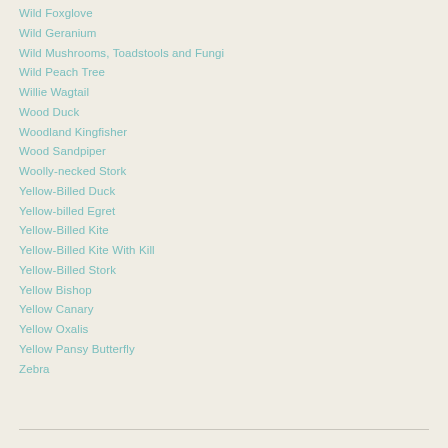Wild Foxglove
Wild Geranium
Wild Mushrooms, Toadstools and Fungi
Wild Peach Tree
Willie Wagtail
Wood Duck
Woodland Kingfisher
Wood Sandpiper
Woolly-necked Stork
Yellow-Billed Duck
Yellow-billed Egret
Yellow-Billed Kite
Yellow-Billed Kite With Kill
Yellow-Billed Stork
Yellow Bishop
Yellow Canary
Yellow Oxalis
Yellow Pansy Butterfly
Zebra